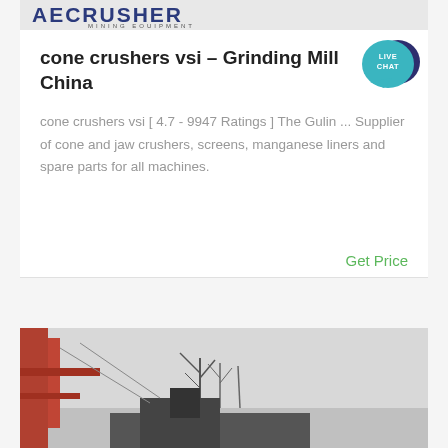[Figure (logo): AECRUSHER Mining Equipment logo banner at top of card]
cone crushers vsi – Grinding Mill China
[Figure (illustration): Live Chat speech bubble icon in teal/dark blue, with text LIVE CHAT]
cone crushers vsi [ 4.7 - 9947 Ratings ] The Gulin ... Supplier of cone and jaw crushers, screens, manganese liners and spare parts for all machines.
Get Price
[Figure (photo): Photo of industrial machinery/crusher equipment with red structural elements, bare trees and grey sky in background]